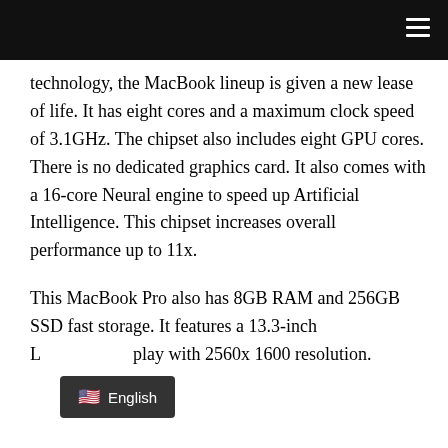Navigation bar with hamburger menu
technology, the MacBook lineup is given a new lease of life. It has eight cores and a maximum clock speed of 3.1GHz. The chipset also includes eight GPU cores. There is no dedicated graphics card. It also comes with a 16-core Neural engine to speed up Artificial Intelligence. This chipset increases overall performance up to 11x.
This MacBook Pro also has 8GB RAM and 256GB SSD fast storage. It features a 13.3-inch LED display with 2560x 1600 resolution.